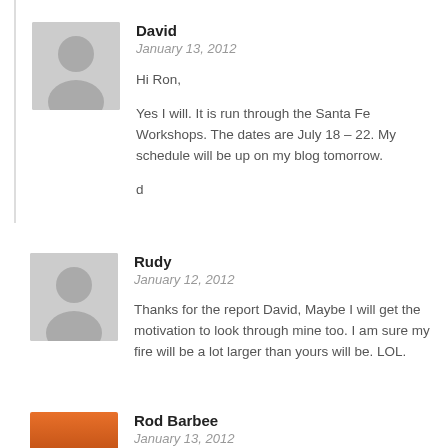[Figure (illustration): Gray placeholder avatar silhouette for David]
David
January 13, 2012
Hi Ron,
Yes I will. It is run through the Santa Fe Workshops. The dates are July 18 – 22. My schedule will be up on my blog tomorrow.

d
[Figure (illustration): Gray placeholder avatar silhouette for Rudy]
Rudy
January 12, 2012
Thanks for the report David, Maybe I will get the motivation to look through mine too. I am sure my fire will be a lot larger than yours will be. LOL.
[Figure (photo): Silhouette of pine trees against an orange/red sunset sky — avatar for Rod Barbee]
Rod Barbee
January 13, 2012